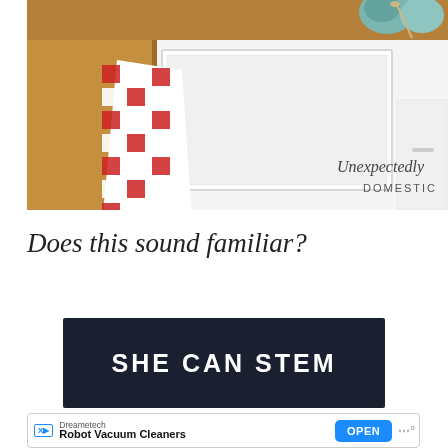[Figure (photo): Kitchen scene with a white farmhouse sink, red and white checkered dish towel draped over the front, wooden countertop, white cabinets, and teal/green ceramic dishes in the upper right. Watermark text reads 'Unexpectedly DOMESTIC' in the lower right corner.]
Does this sound familiar?
[Figure (infographic): Dark navy/black banner advertisement with bold white text reading 'SHE CAN STEM']
Dreametech
Robot Vacuum Cleaners
OPEN